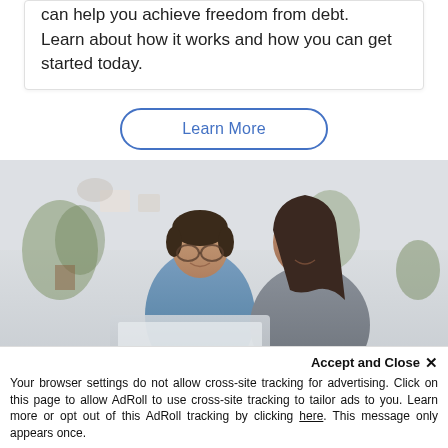can help you achieve freedom from debt. Learn about how it works and how you can get started today.
Learn More
[Figure (photo): A man and a woman smiling and looking at a laptop together in a bright home setting.]
Accept and Close ✕
Your browser settings do not allow cross-site tracking for advertising. Click on this page to allow AdRoll to use cross-site tracking to tailor ads to you. Learn more or opt out of this AdRoll tracking by clicking here. This message only appears once.